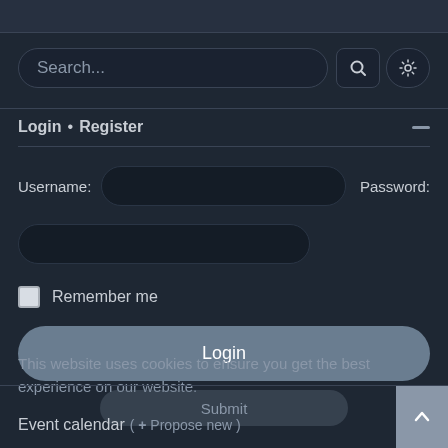[Figure (screenshot): Top navigation bar with tab-like elements]
[Figure (screenshot): Search input field with search icon button and settings gear icon button]
Login • Register
Username:
Password:
Remember me
Login
This website uses cookies to ensure you get the best experience on our website.
Submit
Event calendar ( + Propose new )